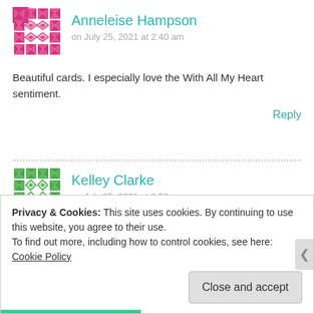[Figure (illustration): Pink geometric avatar for Anneleise Hampson]
Anneleise Hampson
on July 25, 2021 at 2:40 am
Beautiful cards. I especially love the With All My Heart sentiment.
Reply
[Figure (illustration): Green geometric avatar for Kelley Clarke]
Kelley Clarke
on July 25, 2021 at 2:50 am
Love your style. It is so gentle and yet speaks loudly to my heart!
Privacy & Cookies: This site uses cookies. By continuing to use this website, you agree to their use.
To find out more, including how to control cookies, see here: Cookie Policy
Close and accept